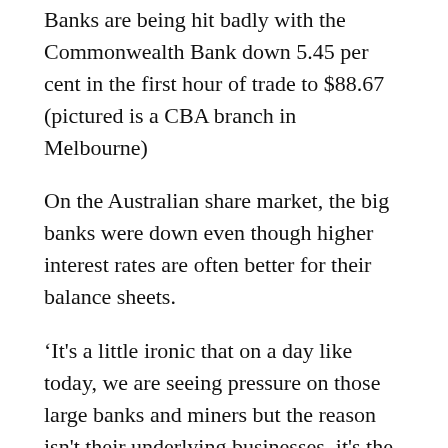Banks are being hit badly with the Commonwealth Bank down 5.45 per cent in the first hour of trade to $88.67 (pictured is a CBA branch in Melbourne)
On the Australian share market, the big banks were down even though higher interest rates are often better for their balance sheets.
‘It's a little ironic that on a day like today, we are seeing pressure on those large banks and miners but the reason isn't their underlying businesses, it's the fact that they’re the leading companies in the local index,’ Mr McCarthy said.
‘The reality is banks are actually likely to improve their profits during a time of interest rate movement because they’re often able to increase margins over the period.
‘The concern though, of course, is the big hit we’re seeing to